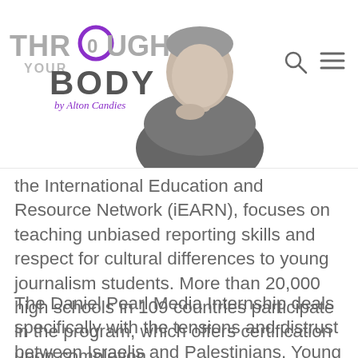Through Your Body — website header with logo and navigation
the International Education and Resource Network (iEARN), focuses on teaching unbiased reporting skills and respect for cultural differences to young journalism students. More than 20,000 high schools in 109 countries participate in the program, which offers certification upon completion.
The Daniel Pearl Media Internship deals specifically with the tensions and distrust between Israelis and Palestinians. Young adults ages 16 to 23 years from this Middle Eastern hotspot can intern for two months at a newspaper, radio or TV outlet, providing they have graduated from a